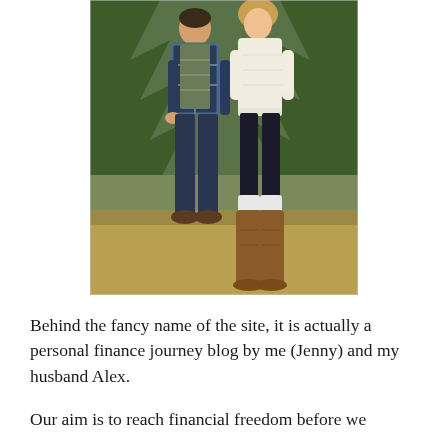[Figure (photo): A couple standing outdoors among evergreen trees. The man wears a plaid flannel shirt and dark jeans with brown shoes. The woman wears a white/cream sweater, black leggings, white boot socks, and tall brown leather boots. They are standing on dry grass/hay.]
Behind the fancy name of the site, it is actually a personal finance journey blog by me (Jenny) and my husband Alex.
Our aim is to reach financial freedom before we